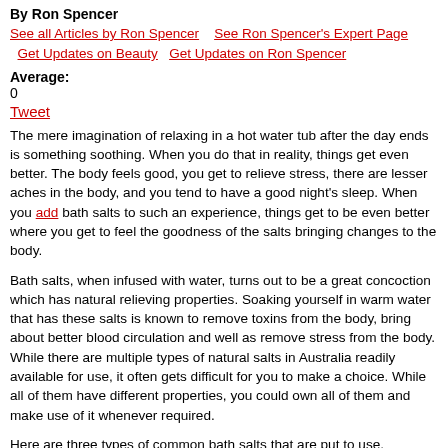By Ron Spencer
See all Articles by Ron Spencer   See Ron Spencer's Expert Page   Get Updates on Beauty   Get Updates on Ron Spencer
Average:
0
Tweet
The mere imagination of relaxing in a hot water tub after the day ends is something soothing. When you do that in reality, things get even better. The body feels good, you get to relieve stress, there are lesser aches in the body, and you tend to have a good night's sleep. When you add bath salts to such an experience, things get to be even better where you get to feel the goodness of the salts bringing changes to the body.
Bath salts, when infused with water, turns out to be a great concoction which has natural relieving properties. Soaking yourself in warm water that has these salts is known to remove toxins from the body, bring about better blood circulation and well as remove stress from the body. While there are multiple types of natural salts in Australia readily available for use, it often gets difficult for you to make a choice. While all of them have different properties, you could own all of them and make use of it whenever required.
Here are three types of common bath salts that are put to use.
Epsom Salts
These are salts containing Sulphur which when induced with warm